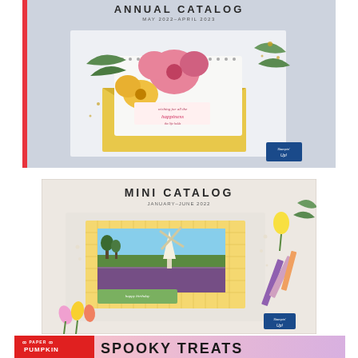[Figure (illustration): Stampin' Up! Annual Catalog cover (May 2022-April 2023) showing floral watercolor design with pink flowers, yellow envelope, and greenery on gray-blue background with red spine]
[Figure (illustration): Stampin' Up! Mini Catalog cover (January-June 2022) showing a windmill card with tulips, colored pencils, and stamp tools on light background]
[Figure (illustration): Paper Pumpkin banner showing red logo box with Paper Pumpkin branding and 'SPOOKY TREATS' text in bold handwritten style on pink-lavender background]